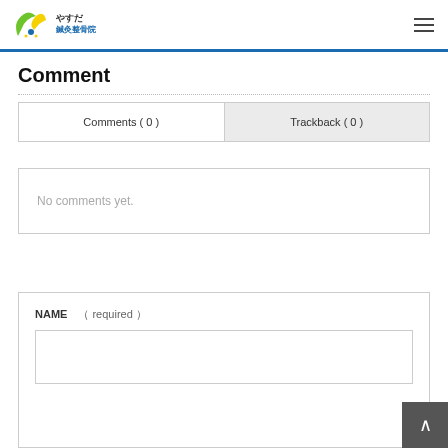やすだ 鍼灸整骨院
Comment
| Comments ( 0 ) | Trackback ( 0 ) |
| --- | --- |
No comments yet.
NAME　（ required ）